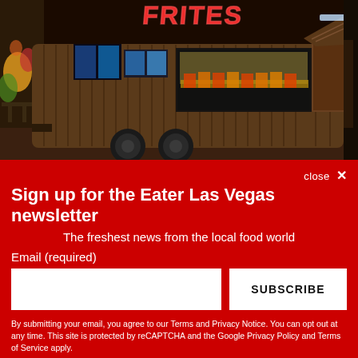[Figure (photo): A food truck trailer with corrugated metal siding and a neon sign reading 'FRITES' parked inside what appears to be a shopping mall or casino. The truck has serving windows and is lit from within.]
close ×
Sign up for the Eater Las Vegas newsletter
The freshest news from the local food world
Email (required)
SUBSCRIBE
By submitting your email, you agree to our Terms and Privacy Notice. You can opt out at any time. This site is protected by reCAPTCHA and the Google Privacy Policy and Terms of Service apply.